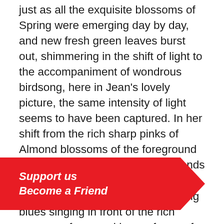just as all the exquisite blossoms of Spring were emerging day by day, and new fresh green leaves burst out, shimmering in the shift of light to the accompaniment of wondrous birdsong, here in Jean's lovely picture, the same intensity of light seems to have been captured. In her shift from the rich sharp pinks of Almond blossoms of the foreground a lone palm tree in dark green stands just behind giving depth, drawing the eye across to the splashes of strong blues singing in front of the rich oranges of squared house forms of the village, nestled into the foot of the great mountain heights dominating the background. The use of mud earth colours takes the eye to the hillsides filled with purple and mauves, buffed out s, so that the white of the sky, that n, creates a wonderful calm over these n me the depth of bold colours evokes those mediterranean scenes, and the contrasts of terracotta hues appear drenched by strong sunlight in that dry landscape. Somehow those purples and ochres are
[Figure (infographic): Red banner/chevron shape with white italic bold text reading 'Support us' and 'Become a Friend']